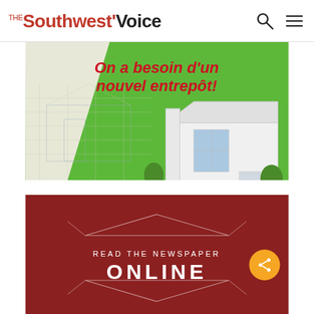The Southwest Voice
[Figure (illustration): Green advertisement banner with French text 'On a besoin d'un nouvel entrepôt!' in red bold italic, with architectural blueprint and building illustration in background]
[Figure (infographic): Dark red banner with decorative diamond/triangle geometric shapes and text 'READ THE NEWSPAPER ONLINE' in white capital letters]